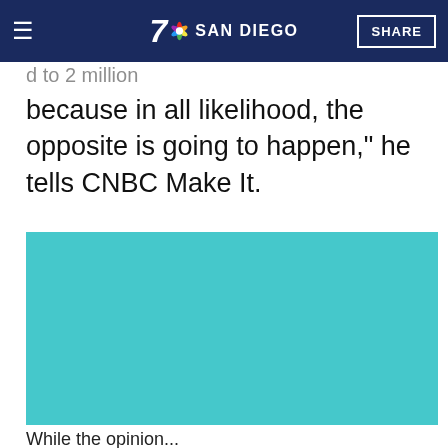NBC 7 San Diego — SHARE
because in all likelihood, the opposite is going to happen," he tells CNBC Make It.
[Figure (photo): Teal/cyan colored image placeholder block]
While the opinion...